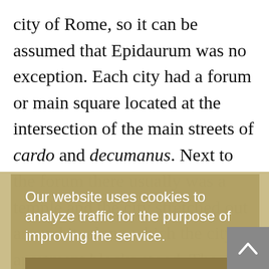city of Rome, so it can be assumed that Epidaurum was no exception. Each city had a forum or main square located at the intersection of the main streets of cardo and decumanus. Next to the forum there usually was a temple and the city stretched out around it, along which the city's apartment blocks stood. The city also had a theatre, thermal baths and other public buildings that we do not know where they were in Epidaurum because
Our website uses cookies to analyze traffic for the purpose of improving the service.
Accept
Do not accept